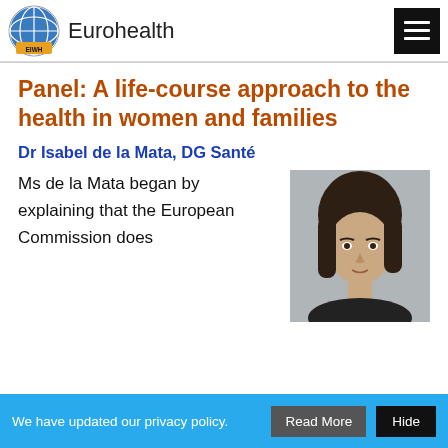Eurohealth
Panel: A life-course approach to the health in women and families
Dr Isabel de la Mata, DG Santé
Ms de la Mata began by explaining that the European Commission does
[Figure (photo): Headshot photo of Dr Isabel de la Mata]
We have updated our privacy policy.